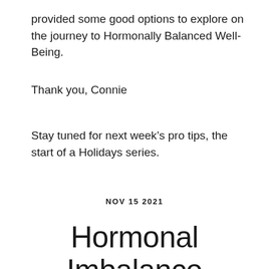provided some good options to explore on the journey to Hormonally Balanced Well-Being.
Thank you, Connie
Stay tuned for next week’s pro tips, the start of a Holidays series.
NOV 15 2021
Hormonal Imbalance